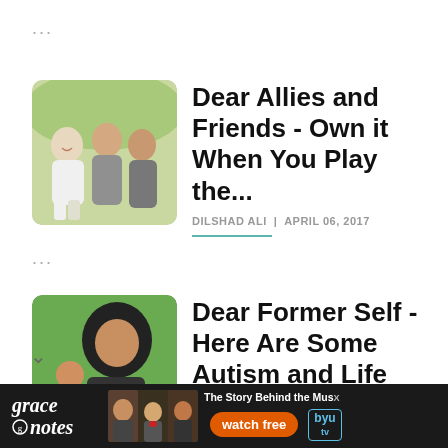...
[Figure (photo): Group of young people laughing and talking outdoors]
Dear Allies and Friends - Own it When You Play the...
DILSHAD ALI | APRIL 06, 2017
...
[Figure (photo): Woman in hijab with child outdoors]
Dear Former Self - Here Are Some Autism and Life
[Figure (infographic): Grace Notes advertisement banner - The Story Behind the Music, watch free, BYU tv]